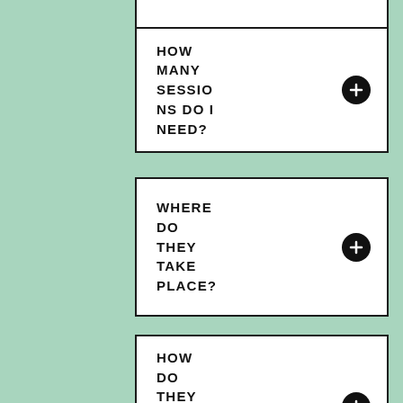HOW MANY SESSIONS DO I NEED?
WHERE DO THEY TAKE PLACE?
HOW DO THEY WORK OVER SKYPE?